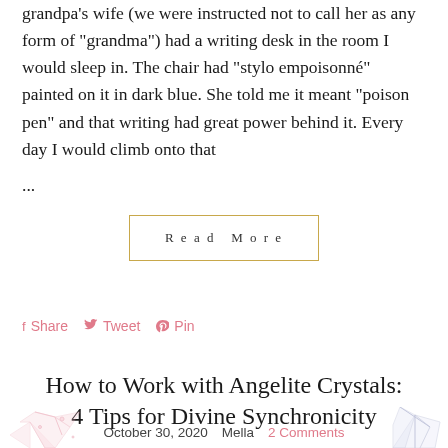grandpa's wife (we were instructed not to call her as any form of "grandma") had a writing desk in the room I would sleep in. The chair had "stylo empoisonné" painted on it in dark blue. She told me it meant "poison pen" and that writing had great power behind it. Every day I would climb onto that
...
Read More
f Share   🐦 Tweet   ♟ Pin
How to Work with Angelite Crystals: 4 Tips for Divine Synchronicity
October 30, 2020   Mella   2 Comments
[Figure (illustration): Pink and lavender crystal illustration background at bottom of page]